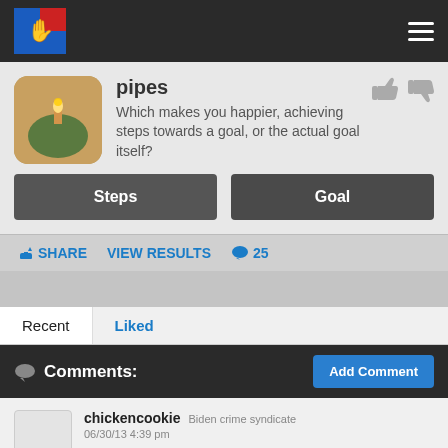Navigation bar with logo and menu icon
pipes
Which makes you happier, achieving steps towards a goal, or the actual goal itself?
Steps
Goal
SHARE   VIEW RESULTS   25
Recent   Liked
Comments:
Add Comment
chickencookie  Biden crime syndicate
06/30/13 4:39 pm
Its all about the journey